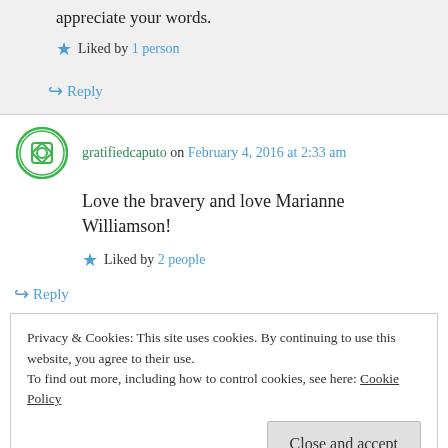appreciate your words.
★ Liked by 1 person
↪ Reply
gratifiedcaputo on February 4, 2016 at 2:33 am
Love the bravery and love Marianne Williamson!
★ Liked by 2 people
↪ Reply
Privacy & Cookies: This site uses cookies. By continuing to use this website, you agree to their use. To find out more, including how to control cookies, see here: Cookie Policy
Close and accept